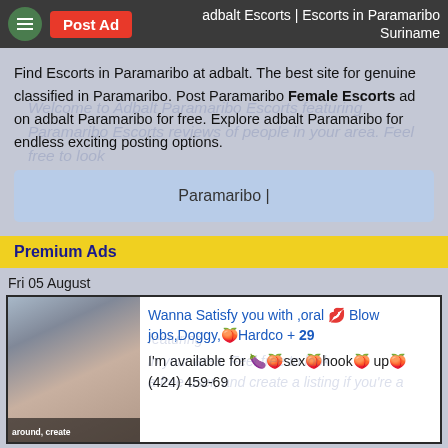adbalt Escorts | Escorts in Paramaribo Suriname
Find Escorts in Paramaribo at adbalt. The best site for genuine classified in Paramaribo. Post Paramaribo Female Escorts ad on adbalt Paramaribo for free. Explore adbalt Paramaribo for endless exciting posting options.
Paramaribo |
Premium Ads
Fri 05 August
Wanna Satisfy you with ,oral 💋 Blow jobs,Doggy,🍑Hardco + 29
I'm available for 🍆🍑sex🍑hook🍑 up🍑 (424) 459-69